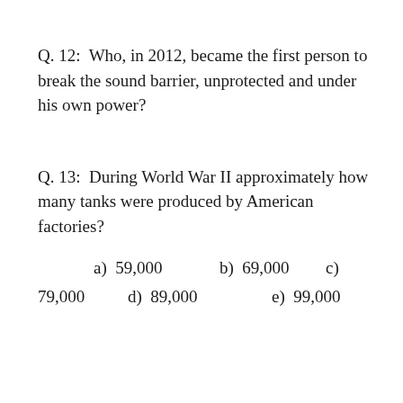Q. 12:  Who, in 2012, became the first person to break the sound barrier, unprotected and under his own power?
Q. 13:  During World War II approximately how many tanks were produced by American factories?
a)  59,000
b)  69,000
c)  79,000
d)  89,000
e)  99,000